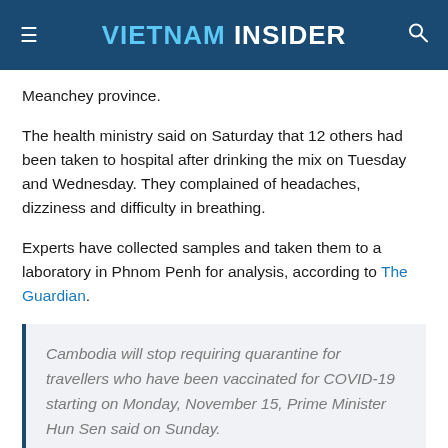VIETNAM INSIDER
Meanchey province.
The health ministry said on Saturday that 12 others had been taken to hospital after drinking the mix on Tuesday and Wednesday. They complained of headaches, dizziness and difficulty in breathing.
Experts have collected samples and taken them to a laboratory in Phnom Penh for analysis, according to The Guardian.
Cambodia will stop requiring quarantine for travellers who have been vaccinated for COVID-19 starting on Monday, November 15, Prime Minister Hun Sen said on Sunday.
The Cambodian prime minister made the announcement in a voice message on social media after the Southeast Asian country has